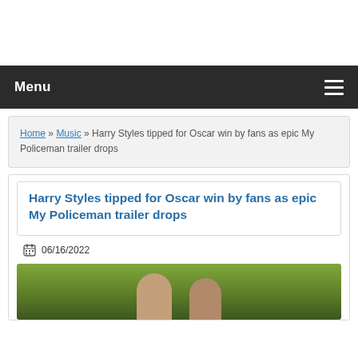Menu
Home » Music » Harry Styles tipped for Oscar win by fans as epic My Policeman trailer drops
Harry Styles tipped for Oscar win by fans as epic My Policeman trailer drops
06/16/2022
[Figure (photo): Photo showing people outdoors with green foliage background]